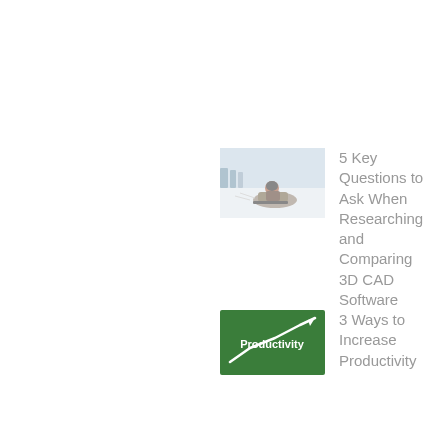5 Key Questions to Ask When Researching and Comparing 3D CAD Software
3 Ways to Increase Productivity
Your IoT #Vision